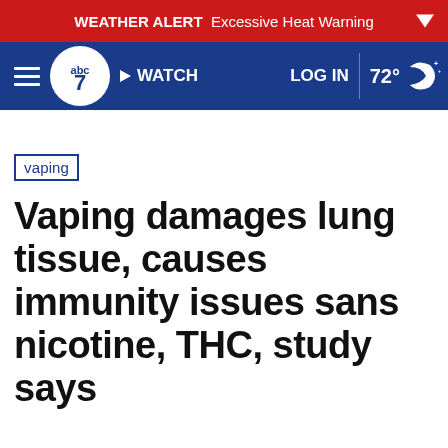WEATHER ALERT Excessive Heat Warning
[Figure (screenshot): ABC7 news website navigation bar with logo, WATCH button, LOG IN, and 72° weather indicator with moon icon]
vaping
Vaping damages lung tissue, causes immunity issues sans nicotine, THC, study says